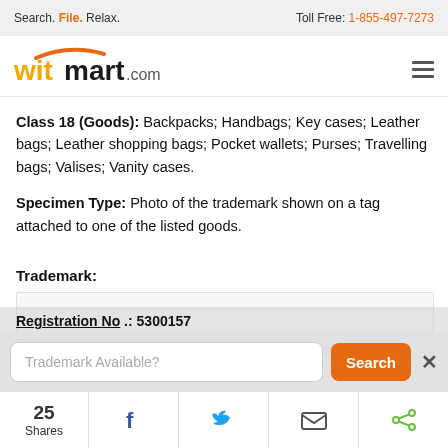Search. File. Relax.   Toll Free: 1-855-497-7273
[Figure (logo): witmart.com logo with orange arc above text]
Class 18 (Goods): Backpacks; Handbags; Key cases; Leather bags; Leather shopping bags; Pocket wallets; Purses; Travelling bags; Valises; Vanity cases.
Specimen Type: Photo of the trademark shown on a tag attached to one of the listed goods.
Trademark:
[Figure (other): Blank white trademark image placeholder area]
Registration No.: 5300157
Class 9 (Goods): LCD projectors; Movie projectors;